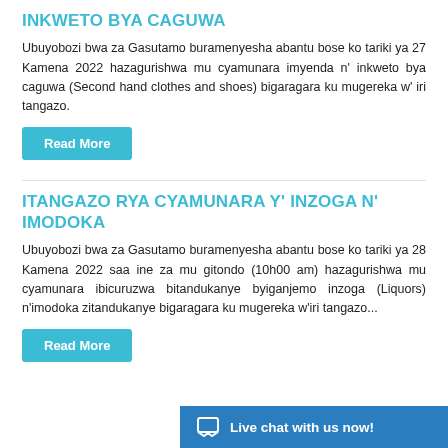INKWETO BYA CAGUWA
Ubuyobozi bwa za Gasutamo buramenyesha abantu bose ko tariki ya 27 Kamena 2022 hazagurishwa mu cyamunara imyenda n' inkweto bya caguwa (Second hand clothes and shoes) bigaragara ku mugereka w' iri tangazo.
Read More
ITANGAZO RYA CYAMUNARA Y' INZOGA N' IMODOKA
Ubuyobozi bwa za Gasutamo buramenyesha abantu bose ko tariki ya 28 Kamena 2022 saa ine za mu gitondo (10h00 am) hazagurishwa mu cyamunara ibicuruzwa bitandukanye byiganjemo inzoga (Liquors) n'imodoka zitandukanye bigaragara ku mugereka w'iri tangazo...
Read More
Live chat with us now!